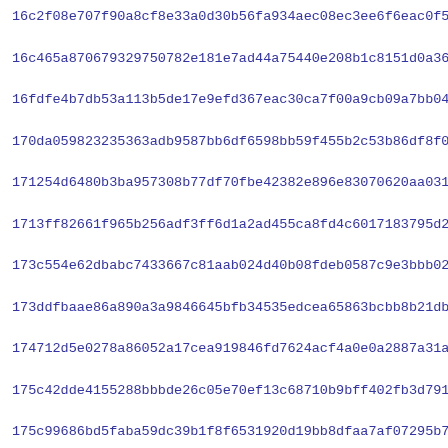16c2f08e707f90a8cf8e33a0d30b56fa934aec08ec3ee6f6eac0f5fa9f6df
16c465a870679329750782e181e7ad44a75440e208b1c8151d0a36a849648
16fdfe4b7db53a113b5de17e9efd367eac30ca7f00a9cb09a7bb04b4fbdd5
170da059823235363adb9587bb6df6598bb59f455b2c53b86df8f0a5b312d
171254d6480b3ba957308b77df70fbe42382e896e83070620aa0315f189c7
1713ff82661f965b256adf3ff6d1a2ad455ca8fd4c6017183795d2214c52f
173c554e62dbabc7433667c81aab024d40b08fdeb0587c9e3bbb02e4c2cd4
173ddfbaae86a890a3a9846645bfb34535edcea65863bcbb8b21db2c14718
174712d5e0278a86052a17cea919846fd7624acf4a0e0a2887a31aa41d69e
175c42dde4155288bbbde26c05e70ef13c68710b9bff402fb3d7911f42411
175c99686bd5faba59dc39b1f8f6531920d19bb8dfaa7af07295b7b321d17